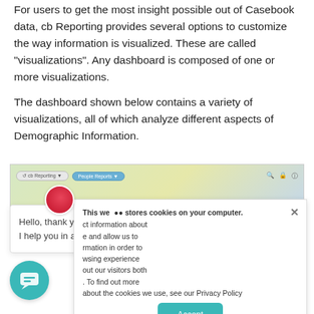For users to get the most insight possible out of Casebook data, cb Reporting provides several options to customize the way information is visualized. These are called "visualizations". Any dashboard is composed of one or more visualizations.
The dashboard shown below contains a variety of visualizations, all of which analyze different aspects of Demographic Information.
[Figure (screenshot): Screenshot of cb Reporting interface showing a navigation bar with 'cb Reporting' and 'People Reports' breadcrumb pills and icons on the right]
This website stores cookies on your computer. ...ct information about ...e and allow us to ...rmation in order to ...wsing experience ...out our visitors both .... To find out more about the cookies we use, see our Privacy Policy
Hello, thank you for visiting, can I help you in any way?